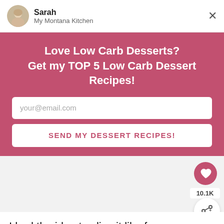Sarah
My Montana Kitchen
Love Low Carb Desserts?
Get my TOP 5 Low Carb Dessert Recipes!
your@email.com
SEND MY DESSERT RECIPES!
10.1K
I had the idea to slice it like fren and fry it in (refined) coconut oil. Then I
WHAT'S NEXT → Low Carb Strombo...